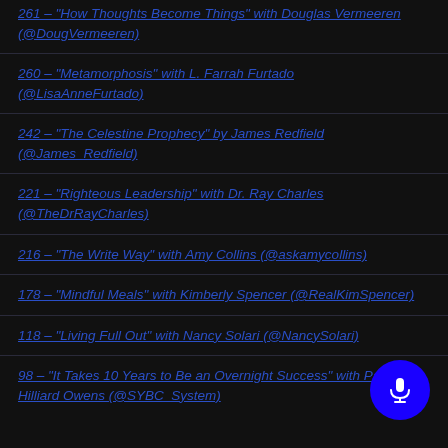261 – "How Thoughts Become Things" with Douglas Vermeeren (@DougVermeeren)
260 – "Metamorphosis" with L. Farrah Furtado (@LisaAnneFurtado)
242 – "The Celestine Prophecy" by James Redfield (@James_Redfield)
221 – "Righteous Leadership" with Dr. Ray Charles (@TheDrRayCharles)
216 – "The Write Way" with Amy Collins (@askamycollins)
178 – "Mindful Meals" with Kimberly Spencer (@RealKimSpencer)
118 – "Living Full Out" with Nancy Solari (@NancySolari)
98 – "It Takes 10 Years to Be an Overnight Success" with Patricia Hilliard Owens (@SYBC_System)